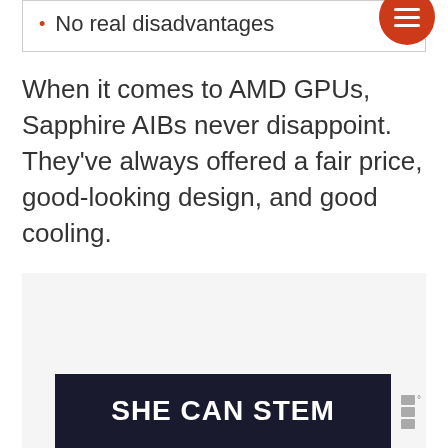No real disadvantages
When it comes to AMD GPUs, Sapphire AIBs never disappoint. They've always offered a fair price, good-looking design, and good cooling.
[Figure (other): Gray placeholder advertisement area]
[Figure (other): SHE CAN STEM advertisement banner on dark background with logo]